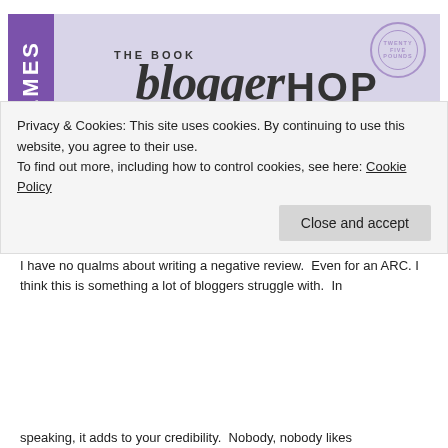[Figure (illustration): The Book Blogger Hop banner with 'MEMES' purple vertical tab on the left, cursive and bold typography on a light purple/lavender parchment-style background with a postage stamp motif. Text reads: THE BOOK blogger HOP hosted by ramblings of a coffee addicted writer]
The Art Of Writing A Negative Review
POSTED MAY 24, 2019 IN MEMES // 11 COMMENTS
I have no qualms about writing a negative review.  Even for an ARC. I think this is something a lot of bloggers struggle with.  In
Privacy & Cookies: This site uses cookies. By continuing to use this website, you agree to their use.
To find out more, including how to control cookies, see here: Cookie Policy
Close and accept
speaking, it adds to your credibility.  Nobody, nobody likes